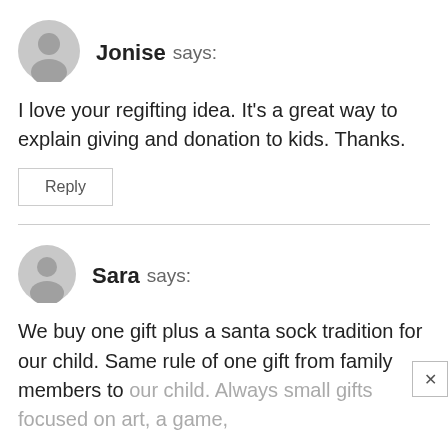[Figure (illustration): Gray circular user avatar icon for commenter Jonise]
Jonise says:
I love your regifting idea. It’s a great way to explain giving and donation to kids. Thanks.
Reply
[Figure (illustration): Gray circular user avatar icon for commenter Sara]
Sara says:
We buy one gift plus a santa sock tradition for our child. Same rule of one gift from family members to our child. Always small gifts focused on art, a game,